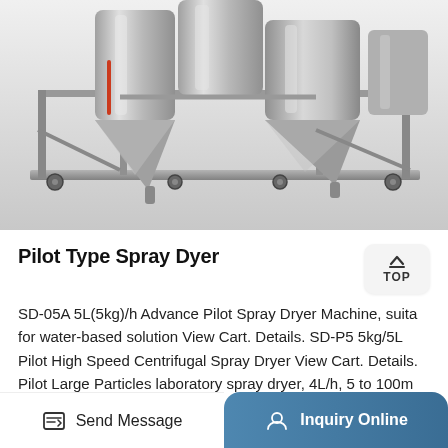[Figure (photo): Photo of a Pilot Type Spray Dryer machine — stainless steel industrial equipment with conical hoppers on a wheeled frame]
Pilot Type Spray Dyer
SD-05A 5L(5kg)/h Advance Pilot Spray Dryer Machine, suita for water-based solution View Cart. Details. SD-P5 5kg/5L Pilot High Speed Centrifugal Spray Dryer View Cart. Details. Pilot Large Particles laboratory spray dryer, 4L/h, 5 to 100m View Cart. Details.
Send Message
Inquiry Online